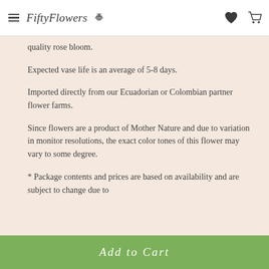FiftyFlowers
quality rose bloom.
Expected vase life is an average of 5-8 days.
Imported directly from our Ecuadorian or Colombian partner flower farms.
Since flowers are a product of Mother Nature and due to variation in monitor resolutions, the exact color tones of this flower may vary to some degree.
* Package contents and prices are based on availability and are subject to change due to
Add to Cart